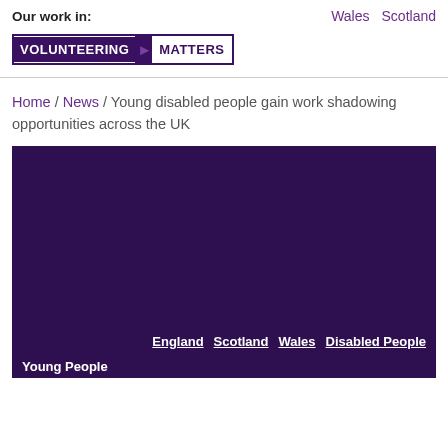Our work in:   Wales   Scotland
[Figure (logo): Volunteering Matters logo — white text on dark purple background with arrow chevron]
Home / News / Young disabled people gain work shadowing opportunities across the UK
[Figure (photo): Large dark purple/maroon background image with footer links: England, Scotland, Wales, Disabled People and partial text 'Young People']